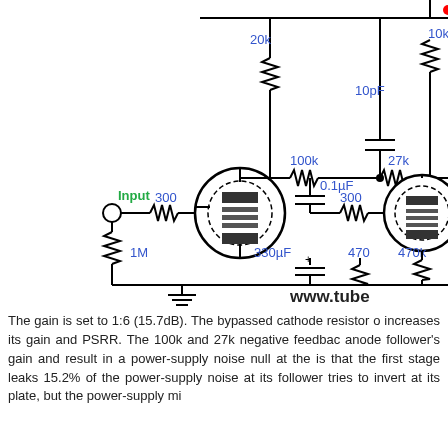[Figure (circuit-diagram): Partial vacuum tube amplifier circuit schematic showing two triode tube stages with resistors, capacitors, and labeled component values: 20k, 100k, 27k, 10pF, 10k, 300, 0.1µF, 300, 1M, 330µF, 470, 470k, Input label, ground symbol, www.tube watermark]
The gain is set to 1:6 (15.7dB). The bypassed cathode resistor o increases its gain and PSRR. The 100k and 27k negative feedbac anode follower's gain and result in a power-supply noise null at the is that the first stage leaks 15.2% of the power-supply noise at its follower tries to invert at its plate, but the power-supply mi